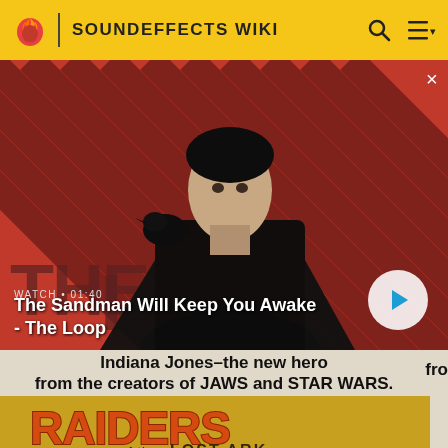SOUNDEFFECTS WIKI
[Figure (screenshot): Video thumbnail for 'The Sandman Will Keep You Awake - The Loop' showing a dark figure with a crow on shoulder against a red and black diagonal striped background. Duration shown as 01:40. White circular play button on right.]
WATCH • 01:40
The Sandman Will Keep You Awake - The Loop
[Figure (photo): Movie advertisement for Raiders of the Lost Ark with text 'Indiana Jones–the new hero from the creators of JAWS and STAR WARS.' The Raiders of the Lost Ark logo is shown in orange/gold on a tan background.]